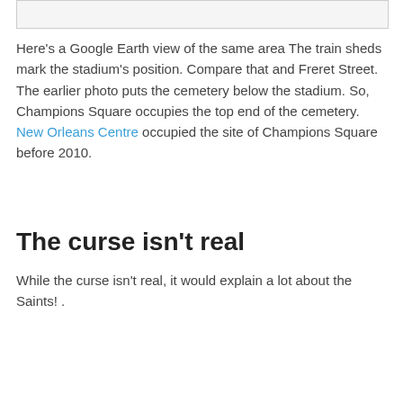[Figure (other): Partial view of an image at the top of the page (cropped, mostly white/grey)]
Here's a Google Earth view of the same area The train sheds mark the stadium's position. Compare that and Freret Street. The earlier photo puts the cemetery below the stadium. So, Champions Square occupies the top end of the cemetery. New Orleans Centre occupied the site of Champions Square before 2010.
The curse isn't real
While the curse isn't real, it would explain a lot about the Saints! .